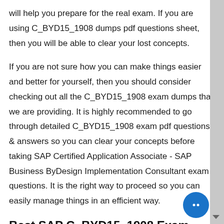will help you prepare for the real exam. If you are using C_BYD15_1908 dumps pdf questions sheet, then you will be able to clear your lost concepts.
If you are not sure how you can make things easier and better for yourself, then you should consider checking out all the C_BYD15_1908 exam dumps that we are providing. It is highly recommended to go through detailed C_BYD15_1908 exam pdf questions & answers so you can clear your concepts before taking SAP Certified Application Associate - SAP Business ByDesign Implementation Consultant exam questions. It is the right way to proceed so you can easily manage things in an efficient way.
Best SAP C_BYD15_1908 Exam PDF Dumps For Professionals